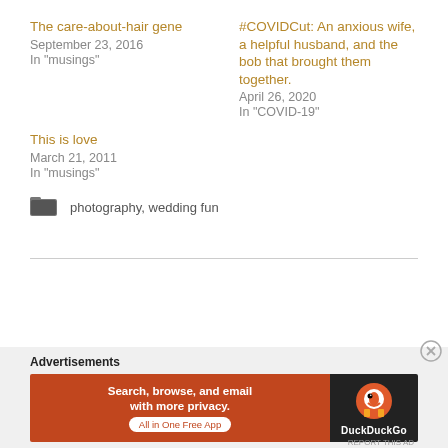The care-about-hair gene
September 23, 2016
In "musings"
#COVIDCut: An anxious wife, a helpful husband, and the bob that brought them together.
April 26, 2020
In "COVID-19"
This is love
March 21, 2011
In "musings"
photography, wedding fun
Advertisements
[Figure (infographic): DuckDuckGo advertisement banner: Search, browse, and email with more privacy. All in One Free App.]